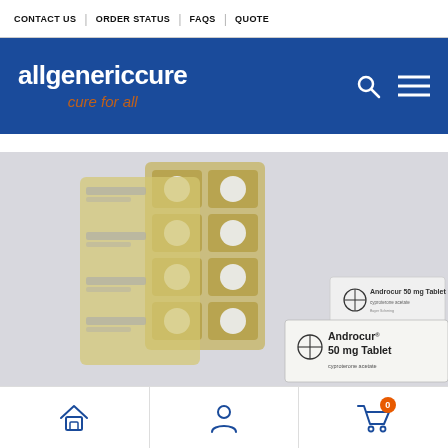CONTACT US | ORDER STATUS | FAQS | QUOTE
[Figure (logo): allgenericcure — cure for all logo on blue banner with search and menu icons]
[Figure (photo): Androcur 50 mg Tablet product photo showing blister packs of tablets and the medication box with Bayer logo]
Home | Account | Cart (0)